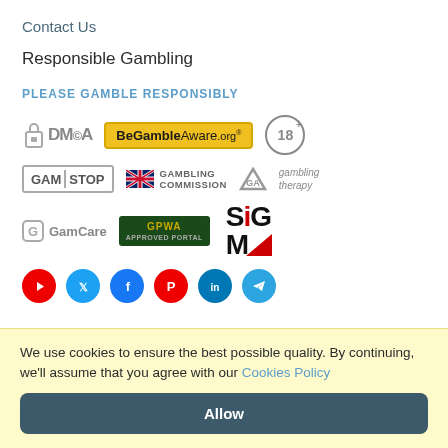Contact Us
Responsible Gambling
PLEASE GAMBLE RESPONSIBLY
[Figure (logo): Row of responsible gambling logos: DMCA logo, BeGambleAware.org badge (yellow), 18+ circle badge]
[Figure (logo): Row of logos: GAMSTOP badge, Gambling Commission UK logo with flag, GA triangle icon, gambling therapy text]
[Figure (logo): Row of logos: GamCare badge with G icon, GPWA Approved Portal green badge, SiGMA large logo in black and red]
[Figure (logo): Social media icons row: YouTube (red), Twitter (blue), Facebook (blue), Pinterest (red), LinkedIn (blue), Telegram (blue)]
We use cookies to ensure the best possible quality. By continuing, we'll assume that you agree with our Cookies Policy
Allow